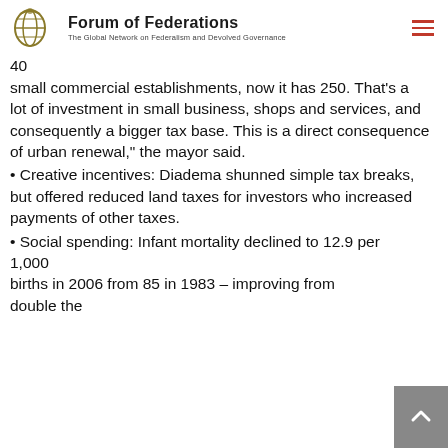Forum of Federations — The Global Network on Federalism and Devolved Governance
40 small commercial establishments, now it has 250. That's a lot of investment in small business, shops and services, and consequently a bigger tax base. This is a direct consequence of urban renewal," the mayor said.
• Creative incentives: Diadema shunned simple tax breaks, but offered reduced land taxes for investors who increased payments of other taxes.
• Social spending: Infant mortality declined to 12.9 per 1,000 births in 2006 from 85 in 1983 – improving from double the